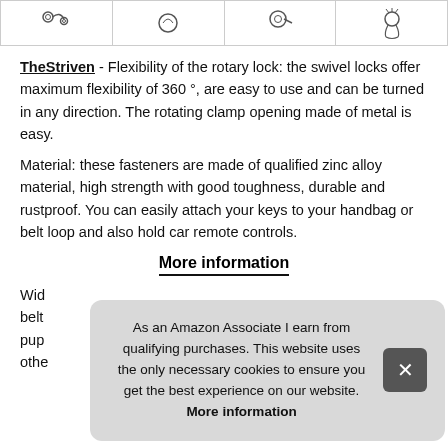[Figure (illustration): Row of four product thumbnail images showing key ring/swivel lock hardware]
TheStriven - Flexibility of the rotary lock: the swivel locks offer maximum flexibility of 360 °, are easy to use and can be turned in any direction. The rotating clamp opening made of metal is easy.
Material: these fasteners are made of qualified zinc alloy material, high strength with good toughness, durable and rustproof. You can easily attach your keys to your handbag or belt loop and also hold car remote controls.
More information
Wid belt pup othe
As an Amazon Associate I earn from qualifying purchases. This website uses the only necessary cookies to ensure you get the best experience on our website. More information